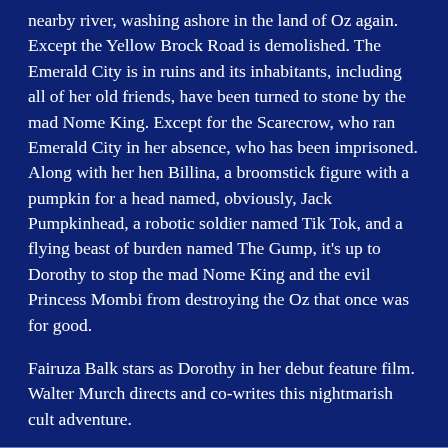nearby river, washing ashore in the land of Oz again. Except the Yellow Brock Road is demolished. The Emerald City is in ruins and its inhabitants, including all of her old friends, have been turned to stone by the mad Nome King. Except for the Scarecrow, who ran Emerald City in her absence, who has been imprisoned. Along with her hen Billina, a broomstick figure with a pumpkin for a head named, obviously, Jack Pumpkinhead, a robotic soldier named Tik Tok, and a flying beast of burden named The Gump, it's up to Dorothy to stop the mad Nome King and the evil Princess Mombi from destroying the Oz that once was for good.
Fairuza Balk stars as Dorothy in her debut feature film. Walter Murch directs and co-writes this nightmarish cult adventure.